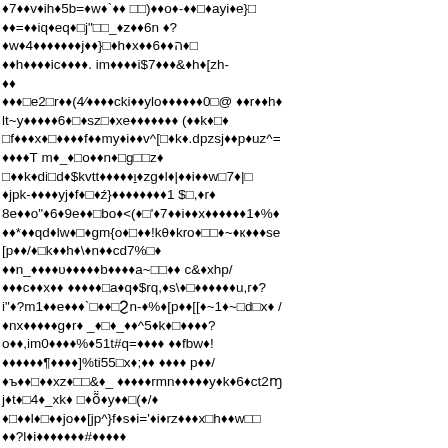corrupted/encoded text content with diamond replacement characters throughout — garbled binary or encoding artifact text spanning the full page